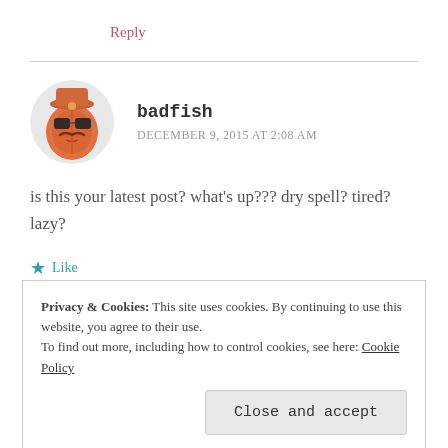Reply
[Figure (illustration): Avatar of user badfish: cartoon fish character wearing sunglasses and a hat with a mustache, orange/red colors]
badfish
DECEMBER 9, 2015 AT 2:08 AM
is this your latest post? what's up??? dry spell? tired? lazy?
★ Like
Reply
Privacy & Cookies: This site uses cookies. By continuing to use this website, you agree to their use.
To find out more, including how to control cookies, see here: Cookie Policy
Close and accept